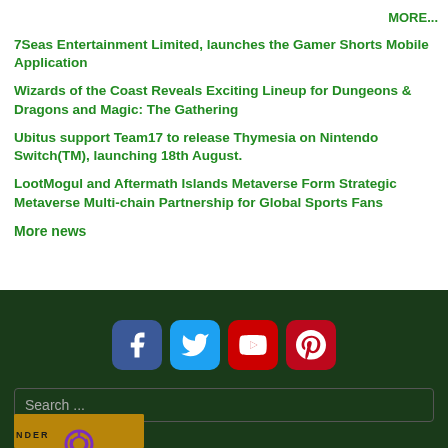MORE...
7Seas Entertainment Limited, launches the Gamer Shorts Mobile Application
Wizards of the Coast Reveals Exciting Lineup for Dungeons & Dragons and Magic: The Gathering
Ubitus support Team17 to release Thymesia on Nintendo Switch(TM), launching 18th August.
LootMogul and Aftermath Islands Metaverse Form Strategic Metaverse Multi-chain Partnership for Global Sports Fans
More news
[Figure (infographic): Social media icons: Facebook, Twitter, YouTube, Pinterest on dark green background]
Search ...
[Figure (logo): Gamer Shorts logo with purple circular power icon on golden/yellow background]